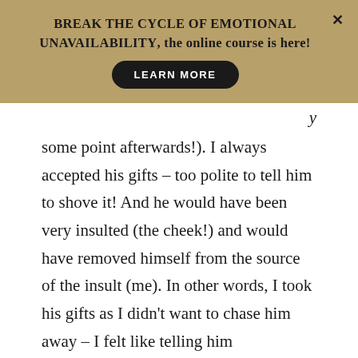BREAK THE CYCLE OF EMOTIONAL UNAVAILABILITY, the online course is here!
LEARN MORE
some point afterwards!). I always accepted his gifts – too polite to tell him to shove it! And he would have been very insulted (the cheek!) and would have removed himself from the source of the insult (me). In other words, I took his gifts as I didn't want to chase him away – I felt like telling him